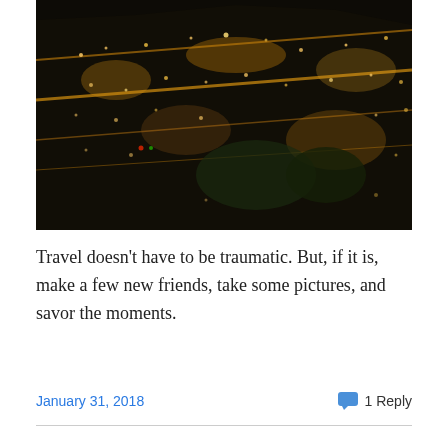[Figure (photo): Aerial night view of a city grid, showing illuminated streets and blocks from above, blurred motion, dark tones with amber/golden lights.]
Travel doesn't have to be traumatic. But, if it is, make a few new friends, take some pictures, and savor the moments.
January 31, 2018
1 Reply